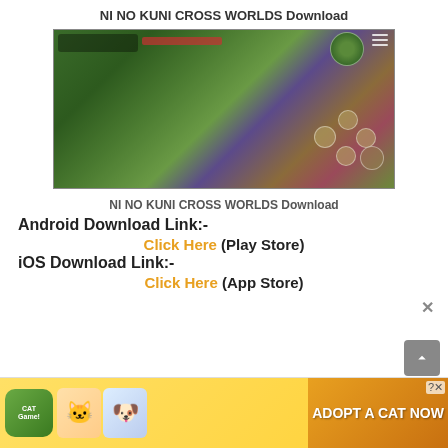NI NO KUNI CROSS WORLDS Download
[Figure (screenshot): Screenshot of Ni No Kuni Cross Worlds mobile game showing a fantasy forest environment with a character in red clothing, game HUD elements, minimap, and control buttons]
NI NO KUNI CROSS WORLDS Download
Android Download Link:-
Click Here (Play Store)
iOS Download Link:-
Click Here (App Store)
[Figure (photo): Advertisement banner for Cat Game - ADOPT A CAT NOW]